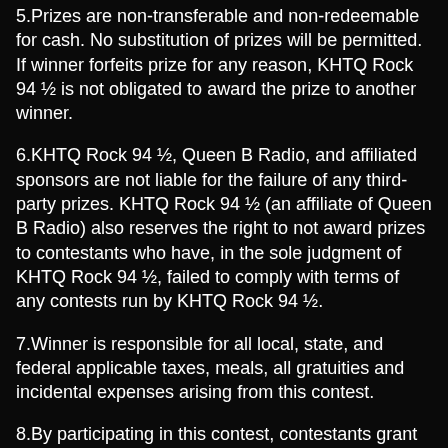5.Prizes are non-transferable and non-redeemable for cash. No substitution of prizes will be permitted. If winner forfeits prize for any reason, KHTQ Rock 94 ½ is not obligated to award the prize to another winner.
6.KHTQ Rock 94 ½, Queen B Radio, and affiliated sponsors are not liable for the failure of any third-party prizes. KHTQ Rock 94 ½ (an affiliate of Queen B Radio) also reserves the right to not award prizes to contestants who have, in the sole judgment of KHTQ Rock 94 ½, failed to comply with terms of any contests run by KHTQ Rock 94 ½.
7.Winner is responsible for all local, state, and federal applicable taxes, meals, all gratuities and incidental expenses arising from this contest.
8.By participating in this contest, contestants grant KHTQ Rock 94 ½ permission and the right to